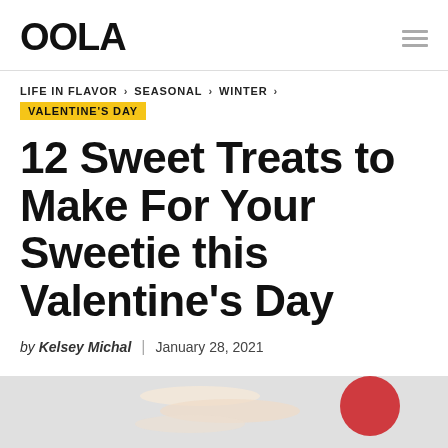OOLA
LIFE IN FLAVOR > SEASONAL > WINTER > VALENTINE'S DAY
12 Sweet Treats to Make For Your Sweetie this Valentine's Day
by Kelsey Michal | January 28, 2021
[Figure (photo): Partial photo of Valentine's Day sweet treats on a light gray background, showing candy/dessert items including a red circular element, cropped at bottom of page]